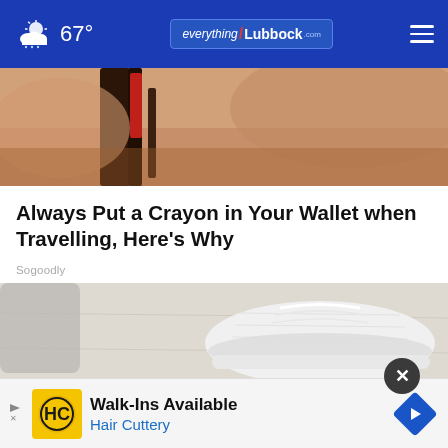67° everything/Lubbock.com
[Figure (photo): Top portion of a photo showing legs/feet near a dark chair with red accent, cropped at top]
Always Put a Crayon in Your Wallet when Travelling, Here's Why
Sogoodly
[Figure (photo): Photo of white sneakers/shoes being worn, with a dark sleeve visible, on a light wood floor]
Walk-Ins Available Hair Cuttery